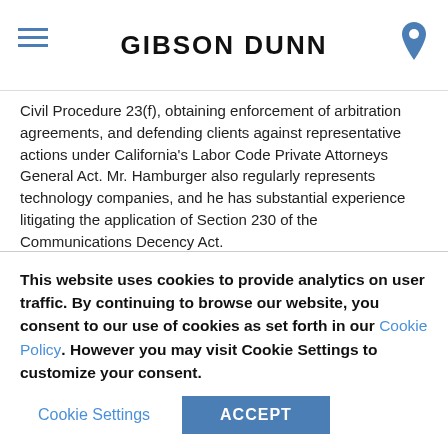GIBSON DUNN
Civil Procedure 23(f), obtaining enforcement of arbitration agreements, and defending clients against representative actions under California's Labor Code Private Attorneys General Act. Mr. Hamburger also regularly represents technology companies, and he has substantial experience litigating the application of Section 230 of the Communications Decency Act.
In 2022, Law360 recognized Mr. Hamburger as a Rising Star in the Class Action category, and BTI Consulting Group included him on its Client Service All-Stars list. The Daily Journal named Mr. Hamburger as one of the top 40 lawyers in California under 40 in 2021. Mr. Hamburger also was part of the team that obtained one of the Daily Journal's Top Appellate Reversals of 2021, Magadia v. Wal-Mart
This website uses cookies to provide analytics on user traffic. By continuing to browse our website, you consent to our use of cookies as set forth in our Cookie Policy. However you may visit Cookie Settings to customize your consent.